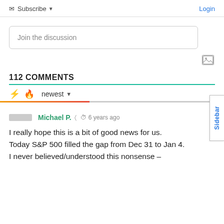Subscribe ▾   Login
Join the discussion
112 COMMENTS
newest ▾
Michael P.  🔗  🕐  6 years ago
I really hope this is a bit of good news for us. Today S&P 500 filled the gap from Dec 31 to Jan 4. I never believed/understood this nonsense –